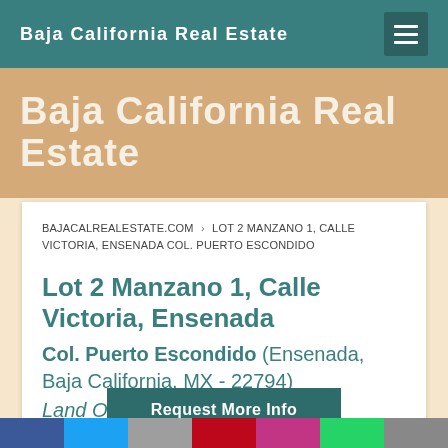Baja California Real Estate
Baja California Real Estate
BAJACALREALESTATE.COM › LOT 2 MANZANO 1, CALLE VICTORIA, ENSENADA COL. PUERTO ESCONDIDO
Lot 2 Manzano 1, Calle Victoria, Ensenada
Col. Puerto Escondido (Ensenada, Baja California, MX - 22794)
Land Only